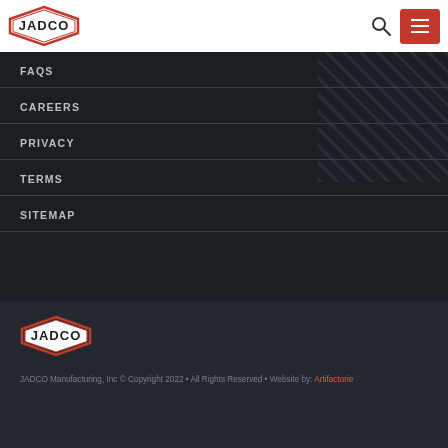JADCO logo, search icon, menu button
FAQS
CAREERS
PRIVACY
TERMS
SITEMAP
[Figure (logo): JADCO Manufacturing logo in footer]
JADCO Manufacturing, Inc © Copyright 2022 • All Rights Reserved • Website by: Artifactorie